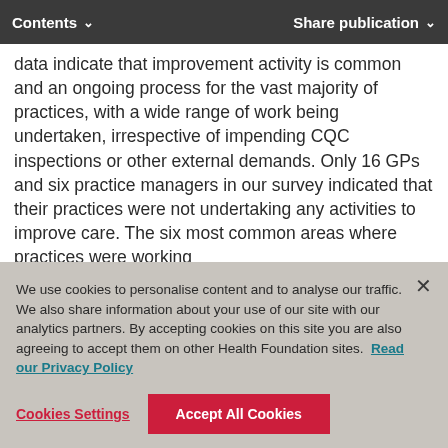Contents   Share publication
data indicate that improvement activity is common and an ongoing process for the vast majority of practices, with a wide range of work being undertaken, irrespective of impending CQC inspections or other external demands. Only 16 GPs and six practice managers in our survey indicated that their practices were not undertaking any activities to improve care. The six most common areas where practices were working
We use cookies to personalise content and to analyse our traffic. We also share information about your use of our site with our analytics partners. By accepting cookies on this site you are also agreeing to accept them on other Health Foundation sites. Read our Privacy Policy
Cookies Settings   Accept All Cookies